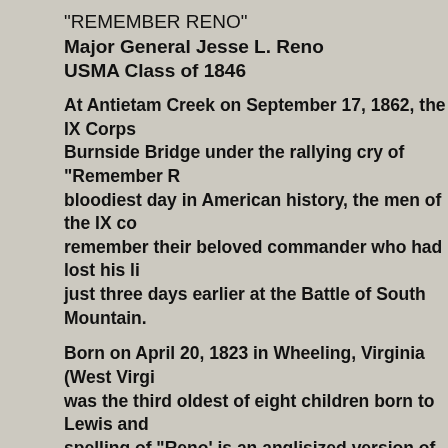“REMEMBER RENO”
Major General Jesse L. Reno
USMA Class of 1846
At Antietam Creek on September 17, 1862, the IX Corps stormed Burnside Bridge under the rallying cry of “Remember Reno”. On the bloodiest day in American history, the men of the IX corps wanted to remember their beloved commander who had lost his life just three days earlier at the Battle of South Mountain.
Born on April 20, 1823 in Wheeling, Virginia (West Virginia), Jesse was the third oldest of eight children born to Lewis and... The spelling of ‘Reno’ is an anglisized version of the French surname “Reynaud”. Jesse’s ancesters, having arrived in America, changed the name to the phonetically simple ‘Reno”.
Jesse’s family moved to Franklin, Pennsylvania in 1830 where he attended school and lived out his formulative years. An account describes Jesse as a boy “of handsome countenence, … brave and quick in action, and a generous companion.”
Jesse secured entrance to the United States Military Academy in 1842. Joining the class of 1846, Jesse would develop lifelong fellow classmates, George B. McClellan, George E. Pickett, George Stoneman, Darius Couch and Thomas J. Jackson. He w…